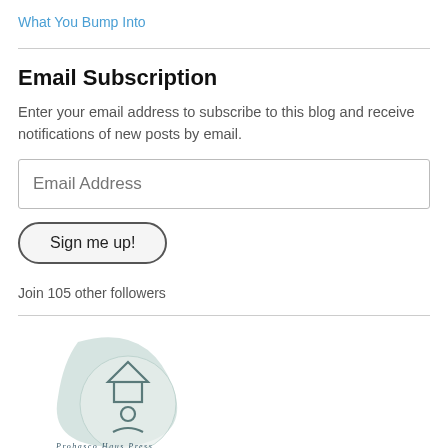What You Bump Into
Email Subscription
Enter your email address to subscribe to this blog and receive notifications of new posts by email.
Email Address
Sign me up!
Join 105 other followers
[Figure (logo): Probasco Haus Press logo: a teal/grey drop shape with geometric house and figure icons, text 'Probasco Haus Press' below]